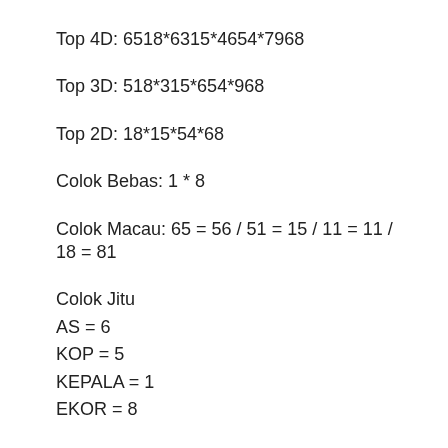Top 4D: 6518*6315*4654*7968
Top 3D: 518*315*654*968
Top 2D: 18*15*54*68
Colok Bebas: 1 * 8
Colok Macau: 65 = 56 / 51 = 15 / 11 = 11 / 18 = 81
Colok Jitu
AS = 6
KOP = 5
KEPALA = 1
EKOR = 8
Shio: KUDA